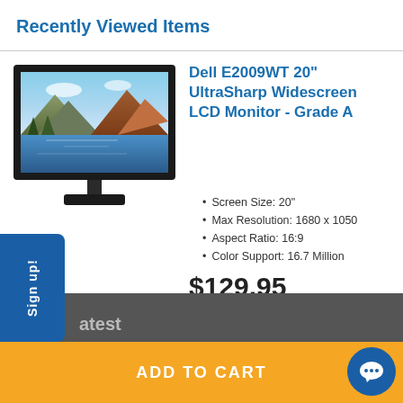Recently Viewed Items
[Figure (photo): Dell E2009WT 20-inch widescreen LCD monitor with a landscape photo displayed on screen, on a black stand]
Dell E2009WT 20" UltraSharp Widescreen LCD Monitor - Grade A
Screen Size: 20"
Max Resolution: 1680 x 1050
Aspect Ratio: 16:9
Color Support: 16.7 Million
$129.95
$149.99
Sign up!
atest
ADD TO CART